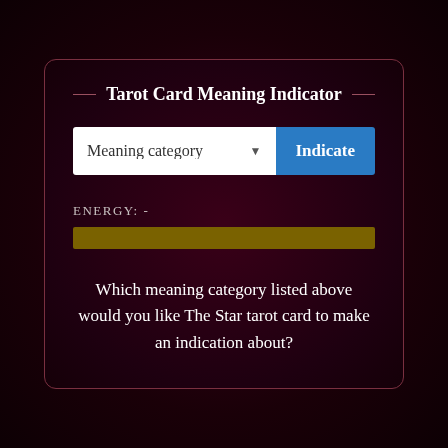Tarot Card Meaning Indicator
[Figure (screenshot): A dropdown selector labeled 'Meaning category' with a blue 'Indicate' button to the right]
ENERGY: -
[Figure (infographic): A dark gold/olive horizontal progress bar representing energy level]
Which meaning category listed above would you like The Star tarot card to make an indication about?